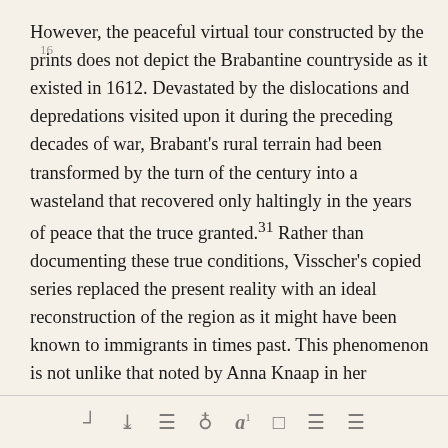However, the peaceful virtual tour constructed by the prints does not depict the Brabantine countryside as it existed in 1612. Devastated by the dislocations and depredations visited upon it during the preceding decades of war, Brabant's rural terrain had been transformed by the turn of the century into a wasteland that recovered only haltingly in the years of peace that the truce granted.31 Rather than documenting these true conditions, Visscher's copied series replaced the present reality with an ideal reconstruction of the region as it might have been known to immigrants in times past. This phenomenon is not unlike that noted by Anna Knaap in her
[toolbar icons]